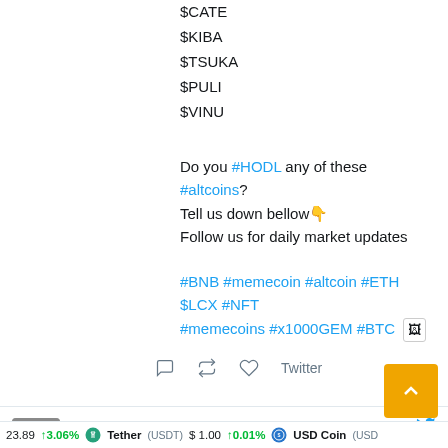$CATE
$KIBA
$TSUKA
$PULI
$VINU
Do you #HODL any of these #altcoins?
Tell us down bellow👇
Follow us for daily market updates
#BNB #memecoin #altcoin #ETH $LCX #NFT #memecoins #x1000GEM #BTC 🖼️
CRYPTO HOUSEWIFE @pauline_crawfor · 32m
DigiByte DGB Coin Nice Volume https://youtu.be/wvjmABsnWvY via @YouTub